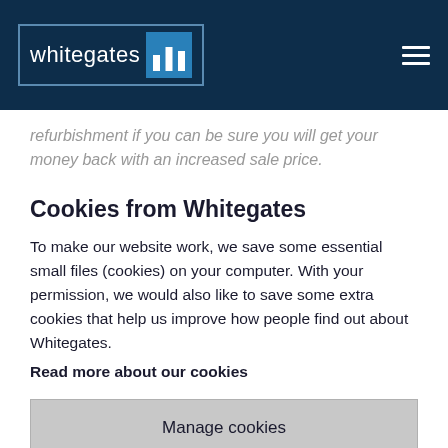[Figure (logo): Whitegates logo with text 'whitegates' and a blue square with white building icon, on dark navy header bar with hamburger menu icon]
refurbishment if you can be sure you will get your money back with an increased sale price.
Cookies from Whitegates
To make our website work, we save some essential small files (cookies) on your computer. With your permission, we would also like to save some extra cookies that help us improve how people find out about Whitegates.
Read more about our cookies
Manage cookies
Accept all